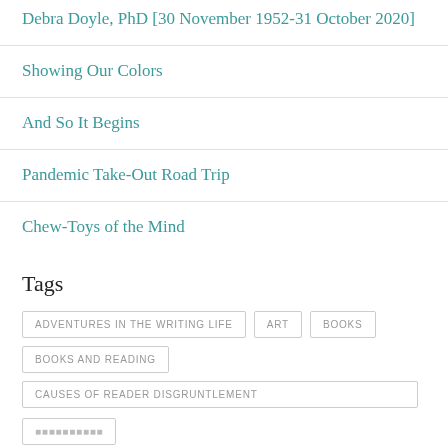Debra Doyle, PhD [30 November 1952-31 October 2020]
Showing Our Colors
And So It Begins
Pandemic Take-Out Road Trip
Chew-Toys of the Mind
Tags
ADVENTURES IN THE WRITING LIFE
ART
BOOKS
BOOKS AND READING
CAUSES OF READER DISGRUNTLEMENT